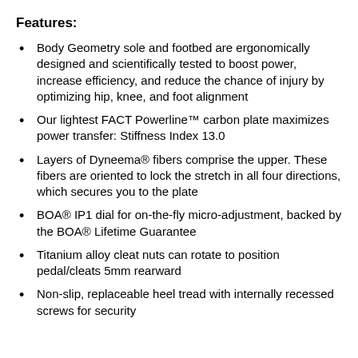Features:
Body Geometry sole and footbed are ergonomically designed and scientifically tested to boost power, increase efficiency, and reduce the chance of injury by optimizing hip, knee, and foot alignment
Our lightest FACT Powerline™ carbon plate maximizes power transfer: Stiffness Index 13.0
Layers of Dyneema® fibers comprise the upper. These fibers are oriented to lock the stretch in all four directions, which secures you to the plate
BOA® IP1 dial for on-the-fly micro-adjustment, backed by the BOA® Lifetime Guarantee
Titanium alloy cleat nuts can rotate to position pedal/cleats 5mm rearward
Non-slip, replaceable heel tread with internally recessed screws for security